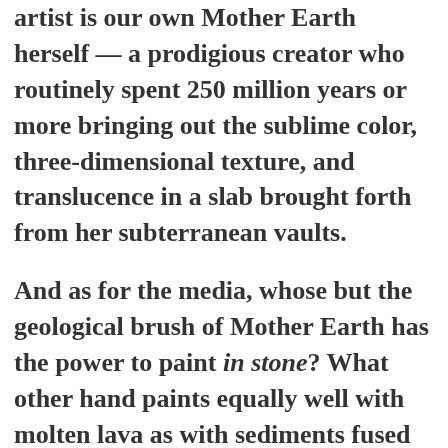artist is our own Mother Earth herself — a prodigious creator who routinely spent 250 million years or more bringing out the sublime color, three-dimensional texture, and translucence in a slab brought forth from her subterranean vaults.

And as for the media, whose but the geological brush of Mother Earth has the power to paint in stone? What other hand paints equally well with molten lava as with sediments fused by the kind of power that crinkles the continental shelf as if it were